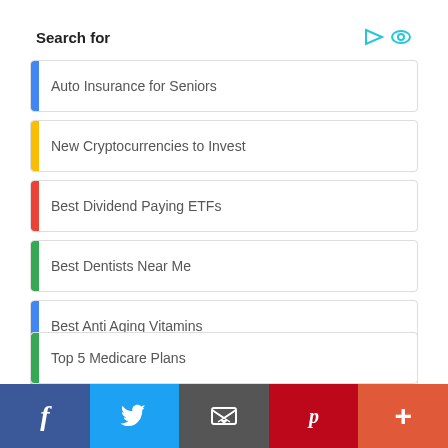Search for
Auto Insurance for Seniors
New Cryptocurrencies to Invest
Best Dividend Paying ETFs
Best Dentists Near Me
Best Anti Aging Vitamins
Psoriasis of the Scalp
Best Pain Relief for Arthritis
Top 5 Medicare Plans
Facebook | Twitter | Email | Pinterest | More